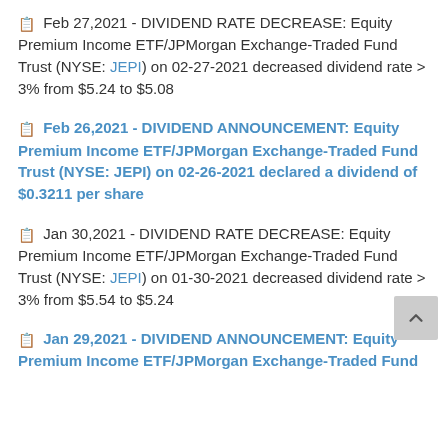Feb 27,2021 - DIVIDEND RATE DECREASE: Equity Premium Income ETF/JPMorgan Exchange-Traded Fund Trust (NYSE: JEPI) on 02-27-2021 decreased dividend rate > 3% from $5.24 to $5.08
Feb 26,2021 - DIVIDEND ANNOUNCEMENT: Equity Premium Income ETF/JPMorgan Exchange-Traded Fund Trust (NYSE: JEPI) on 02-26-2021 declared a dividend of $0.3211 per share
Jan 30,2021 - DIVIDEND RATE DECREASE: Equity Premium Income ETF/JPMorgan Exchange-Traded Fund Trust (NYSE: JEPI) on 01-30-2021 decreased dividend rate > 3% from $5.54 to $5.24
Jan 29,2021 - DIVIDEND ANNOUNCEMENT: Equity Premium Income ETF/JPMorgan Exchange-Traded Fund Trust